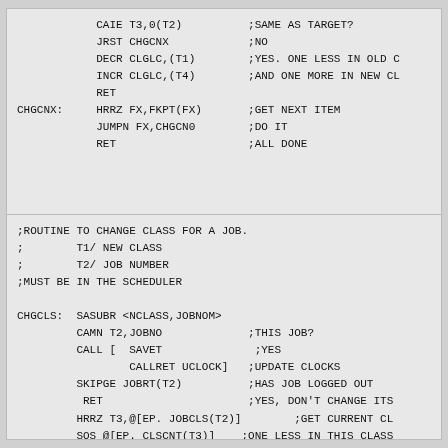CAIE T3,0(T2)	;SAME AS TARGET?
	JRST CHGCNX	;NO
	DECR CLGLC,(T1)	;YES. ONE LESS IN OLD C
	INCR CLGLC,(T4)	;AND ONE MORE IN NEW CL
	RET
CHGCNX:	HRRZ FX,FKPT(FX)	;GET NEXT ITEM
	JUMPN FX,CHGCN0	;DO IT
	RET			;ALL DONE
;ROUTINE TO CHANGE CLASS FOR A JOB.
;	T1/ NEW CLASS
;	T2/ JOB NUMBER
;MUST BE IN THE SCHEDULER

CHGCLS:	SASUBR <NCLASS,JOBNOM>
	CAMN T2,JOBNO		;THIS JOB?
	CALL [	SAVET		;YES
			CALLRET UCLOCK]	;UPDATE CLOCKS
	SKIPGE JOBRT(T2)	;HAS JOB LOGGED OUT
	 RET			;YES, DON'T CHANGE ITS
	HRRZ T3,@[EP. JOBCLS(T2)]	;GET CURRENT CL
	SOS @[EP. CLSCNT(T3)]	;ONE LESS IN THIS CLASS
	AOS @[EP. CLSCNT(T1)]	;ONE MORE IN THIS CLASS
	HRRM T1,@[EP. JOBCLS(T2)]	;SET NEW CLASS
	SKIPN CLASSF		;DOING CLASS SCHEDULING
	RET			;NO .DONE THEN
	MOVEM T3,NCLASS		;SAVE OLD CLASS IN NEW
	CALL ADJCLS		;ADJUST CLASS PARAMETER